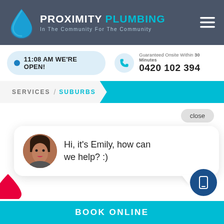PROXIMITY PLUMBING — In The Community For The Community
11:08 AM WE'RE OPEN!
Guaranteed Onsite Within 30 Minutes
0420 102 394
SERVICES / SUBURBS
close
Hi, it's Emily, how can we help? :)
BOOK ONLINE